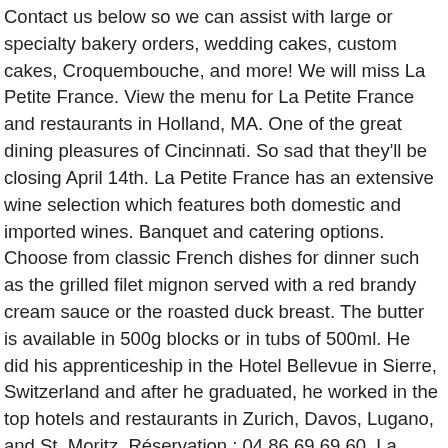Contact us below so we can assist with large or specialty bakery orders, wedding cakes, custom cakes, Croquembouche, and more! We will miss La Petite France. View the menu for La Petite France and restaurants in Holland, MA. One of the great dining pleasures of Cincinnati. So sad that they'll be closing April 14th. La Petite France has an extensive wine selection which features both domestic and imported wines. Banquet and catering options. Choose from classic French dishes for dinner such as the grilled filet mignon served with a red brandy cream sauce or the roasted duck breast. The butter is available in 500g blocks or in tubs of 500ml. He did his apprenticeship in the Hotel Bellevue in Sierre, Switzerland and after he graduated, he worked in the top hotels and restaurants in Zurich, Davos, Lugano, and St. Moritz. Réservation : 04 86 69 69 60. La Petite Maison Our Team … South of France in North Atlanta. Do you own La Petite France? Known for A cozy neighborhood spot for elevated French cuisine and a full brunch menu.. Old world charm, delicious food, great wine combined with dear friends made for a perfect evening. Another pleasant dining experience, well prepared and